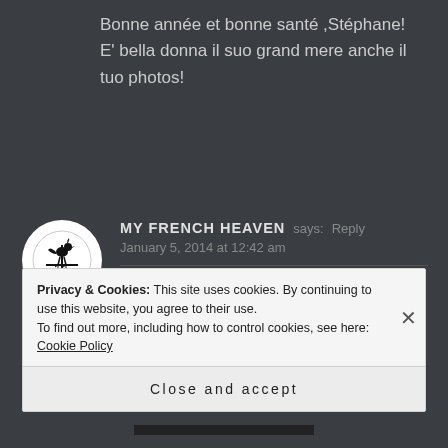Bonne année et bonne santé ,Stéphane! E' bella donna il suo grand mere anche il tuo photos!
[Figure (illustration): Circular avatar with rooster/weathervane logo for My French Heaven blogger]
MY FRENCH HEAVEN says: Reply
January 5, 2014 at 12:42 am
Thank you so much Mona! Happy New Year to you!
Privacy & Cookies: This site uses cookies. By continuing to use this website, you agree to their use.
To find out more, including how to control cookies, see here: Cookie Policy
Close and accept